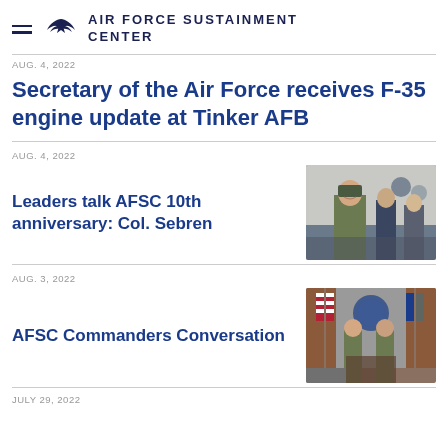AIR FORCE SUSTAINMENT CENTER
AUG. 4, 2022
Secretary of the Air Force receives F-35 engine update at Tinker AFB
AUG. 4, 2022
Leaders talk AFSC 10th anniversary: Col. Sebren
[Figure (photo): Military officer in camouflage uniform smiling in a conference room with other officials]
AUG. 3, 2022
AFSC Commanders Conversation
[Figure (photo): Two military officers standing at a podium in front of American flags and Air Force flags]
JULY 29, 2022